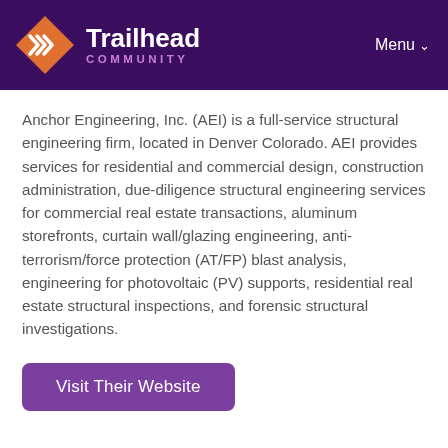Trailhead COMMUNITY | Menu
Anchor Engineering, Inc. (AEI) is a full-service structural engineering firm, located in Denver Colorado. AEI provides services for residential and commercial design, construction administration, due-diligence structural engineering services for commercial real estate transactions, aluminum storefronts, curtain wall/glazing engineering, anti-terrorism/force protection (AT/FP) blast analysis, engineering for photovoltaic (PV) supports, residential real estate structural inspections, and forensic structural investigations.
Visit Their Website